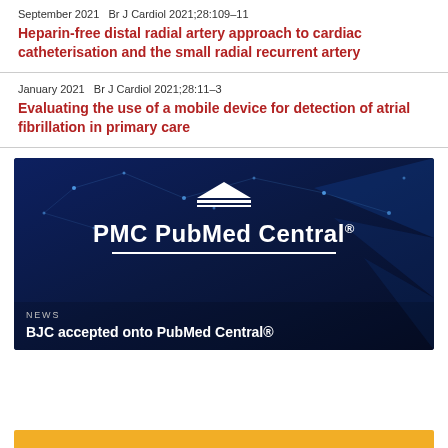September 2021   Br J Cardiol 2021;28:109–11
Heparin-free distal radial artery approach to cardiac catheterisation and the small radial recurrent artery
January 2021   Br J Cardiol 2021;28:11–3
Evaluating the use of a mobile device for detection of atrial fibrillation in primary care
[Figure (screenshot): PMC PubMed Central logo banner with news item: BJC accepted onto PubMed Central®]
NEWS
BJC accepted onto PubMed Central®